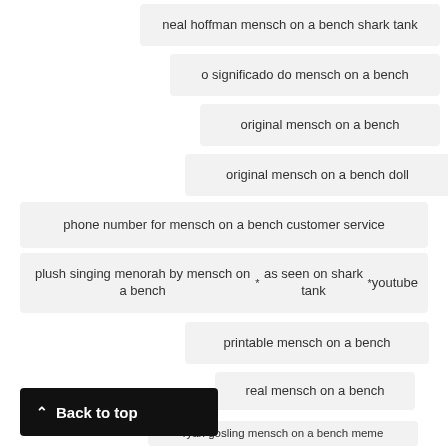neal hoffman mensch on a bench shark tank
o significado do mensch on a bench
original mensch on a bench
original mensch on a bench doll
phone number for mensch on a bench customer service
plush singing menorah by mensch on a bench *as seen on shark tank* youtube
printable mensch on a bench
real mensch on a bench
ryan gosling mensch on a bench meme
shark tank mensch on a bench
shark tank mensch on a bench episode
Back to top